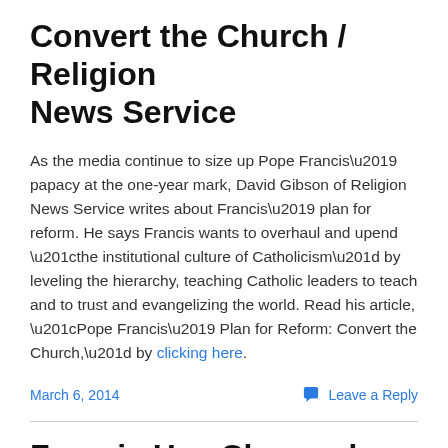Convert the Church / Religion News Service
As the media continue to size up Pope Francis' papacy at the one-year mark, David Gibson of Religion News Service writes about Francis' plan for reform. He says Francis wants to overhaul and upend “the institutional culture of Catholicism” by leveling the hierarchy, teaching Catholic leaders to teach and to trust and evangelizing the world. Read his article, “Pope Francis’ Plan for Reform: Convert the Church,” by clicking here.
March 6, 2014
Leave a Reply
Francis Has Changed